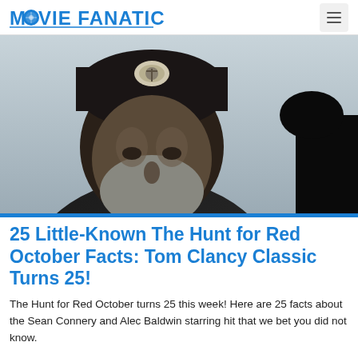MOVIE FANATIC
[Figure (photo): Close-up of a bearded man wearing a dark fur hat with a naval badge/emblem, looking stern. The background is a pale grey sky. A dark silhouette is visible on the right edge.]
25 Little-Known The Hunt for Red October Facts: Tom Clancy Classic Turns 25!
The Hunt for Red October turns 25 this week! Here are 25 facts about the Sean Connery and Alec Baldwin starring hit that we bet you did not know.